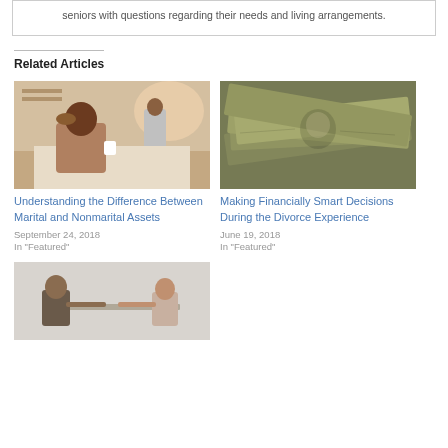seniors with questions regarding their needs and living arrangements.
Related Articles
[Figure (photo): Man sitting at table with head in hand, stressed, woman in background]
Understanding the Difference Between Marital and Nonmarital Assets
September 24, 2018
In "Featured"
[Figure (photo): Pile of US dollar bills]
Making Financially Smart Decisions During the Divorce Experience
June 19, 2018
In "Featured"
[Figure (photo): Couple sitting across from each other at a table]